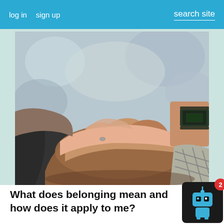log in   sign up   search site
[Figure (photo): Multiple hands stacked together in a team huddle gesture, photographed close-up with blurred background. One person wears a smartwatch on their wrist.]
What does belonging mean and how does it apply to me?